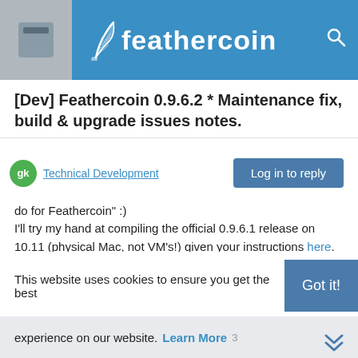feathercoin
[Dev] Feathercoin 0.9.6.2 * Maintenance fix, build & upgrade issues notes.
Technical Development | Log in to reply
do for Feathercoin" :)
I'll try my hand at compiling the official 0.9.6.1 release on 10.11 (physical Mac, not VM's!) given your instructions here. 'Bout time I did some Mac compiling, been living in the linux world too long. I do have a 10.12 system to test forward compatibility.
DIY, baby!
1 Reply > 2
This website uses cookies to ensure you get the best
experience on our website. Learn More